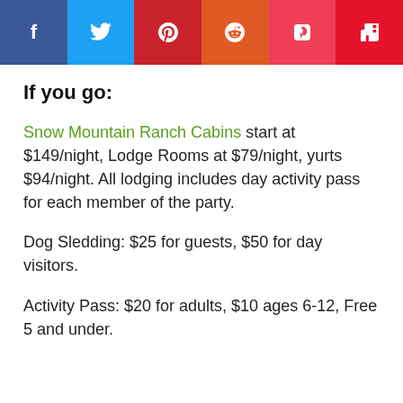[Figure (infographic): Social media share buttons bar: Facebook (dark blue), Twitter (light blue), Pinterest (dark red), Reddit (orange), Pocket (pink-red), Flipboard (red)]
If you go:
Snow Mountain Ranch Cabins start at $149/night, Lodge Rooms at $79/night, yurts $94/night. All lodging includes day activity pass for each member of the party.
Dog Sledding: $25 for guests, $50 for day visitors.
Activity Pass: $20 for adults, $10 ages 6-12, Free 5 and under.